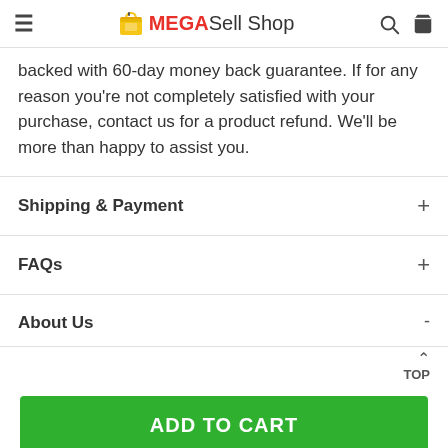MEGASell Shop
backed with 60-day money back guarantee. If for any reason you're not completely satisfied with your purchase, contact us for a product refund. We'll be more than happy to assist you.
Shipping & Payment
FAQs
About Us
ADD TO CART